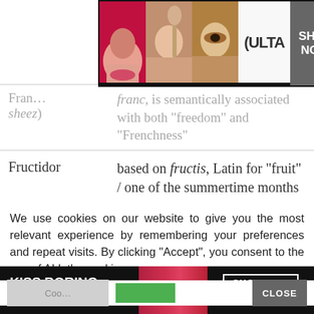[Figure (other): ULTA Beauty advertisement banner at top with makeup imagery and SHOP NOW button]
| Term | Definition |
| --- | --- |
| Fran... (sheez) | franc, is semantically associated with both “freedom” and “Frenchness” |
| Fructidor | based on fructis, Latin for “fruit” / one of the summertime months of the republican calendar |
We use cookies on our website to give you the most relevant experience by remembering your preferences and repeat visits. By clicking “Accept”, you consent to the use of ALL the cookies.
Do not sell my personal information.
[Figure (other): Macy's advertisement banner at bottom with KISS BORING LIPS GOODBYE text and SHOP NOW button]